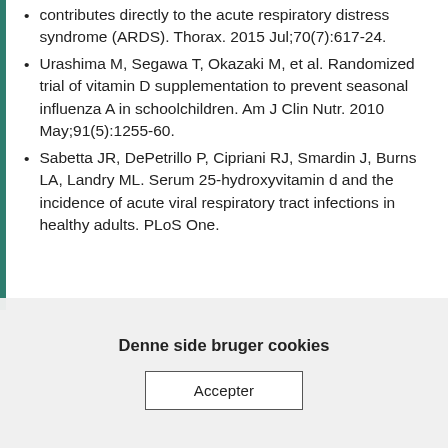contributes directly to the acute respiratory distress syndrome (ARDS). Thorax. 2015 Jul;70(7):617-24.
Urashima M, Segawa T, Okazaki M, et al. Randomized trial of vitamin D supplementation to prevent seasonal influenza A in schoolchildren. Am J Clin Nutr. 2010 May;91(5):1255-60.
Sabetta JR, DePetrillo P, Cipriani RJ, Smardin J, Burns LA, Landry ML. Serum 25-hydroxyvitamin d and the incidence of acute viral respiratory tract infections in healthy adults. PLoS One.
Denne side bruger cookies
Accepter